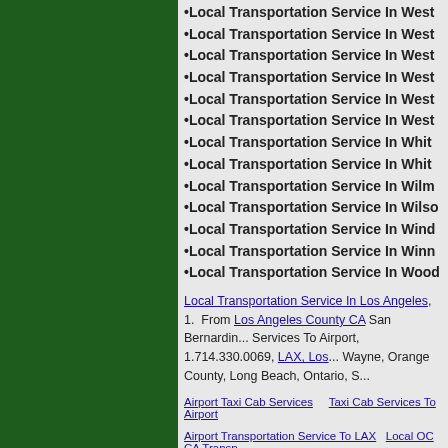•Local Transportation Service In West...
•Local Transportation Service In West...
•Local Transportation Service In West...
•Local Transportation Service In West...
•Local Transportation Service In West...
•Local Transportation Service In West...
•Local Transportation Service In Whit...
•Local Transportation Service In Whit...
•Local Transportation Service In Wilm...
•Local Transportation Service In Wilso...
•Local Transportation Service In Wind...
•Local Transportation Service In Winn...
•Local Transportation Service In Wood...
Local Transportation Service In Los Angeles, 1. From Los Angeles County CA San Bernardin... Services To Airport, 1.714.330.0069, LAX, Los... Wayne, Orange County, Long Beach, Ontario, S...
Airport Taxi Cab Services    Taxi Cab Services To Airport
Airport Transportation Service To LAX  Local OC CA Transp...
Transportation Services To Los Angeles International Airport...
Affordable Reasonable Transportation Service Southern Cal...